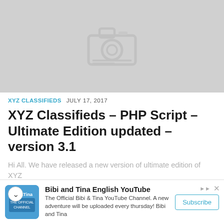[Figure (photo): Gray placeholder image with a camera icon in the center]
XYZ CLASSIFIEDS  JULY 17, 2017
XYZ Classifieds – PHP Script – Ultimate Edition updated – version 3.1
Hi All. We have released a new version of ultimate edition of XYZ nds php script. The new version is 3.1. This version...
[Figure (illustration): Advertisement banner: Bibi and Tina English YouTube Channel ad with subscribe button]